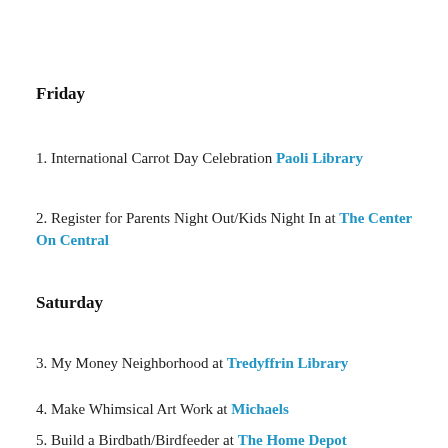Friday
1. International Carrot Day Celebration Paoli Library
2. Register for Parents Night Out/Kids Night In at The Center On Central
Saturday
3. My Money Neighborhood at Tredyffrin Library
4.  Make Whimsical Art Work at Michaels
5. Build a Birdbath/Birdfeeder at The Home Depot